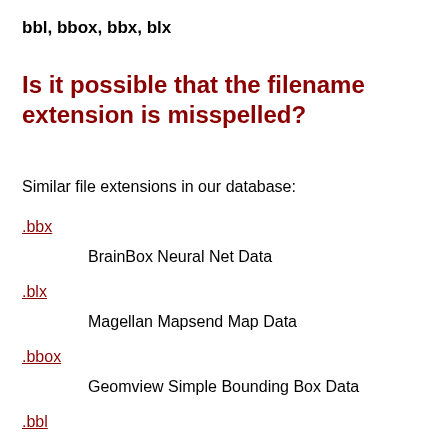bbl, bbox, bbx, blx
Is it possible that the filename extension is misspelled?
Similar file extensions in our database:
.bbx
BrainBox Neural Net Data
.blx
Magellan Mapsend Map Data
.bbox
Geomview Simple Bounding Box Data
.bbl